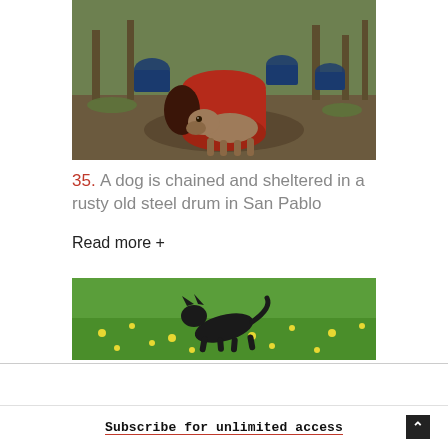[Figure (photo): A brown dog standing under a large red rusty steel drum barrel in a muddy outdoor area with trees and more barrels in the background]
35. A dog is chained and sheltered in a rusty old steel drum in San Pablo
Read more +
[Figure (photo): A black animal (possibly a cat or small dog) running through a green grassy field with yellow flowers]
Subscribe for unlimited access